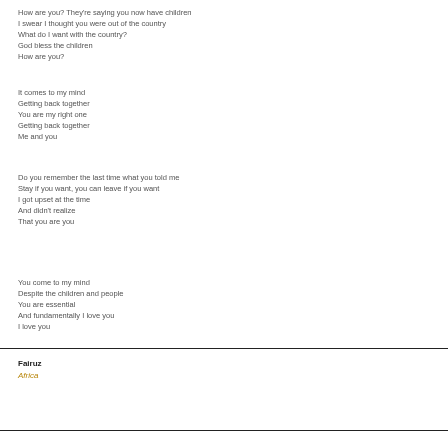How are you? They're saying you now have children
I swear I thought you were out of the country
What do I want with the country?
God bless the children
How are you?
It comes to my mind
Getting back together
You are my right one
Getting back together
Me and you
Do you remember the last time what you told me
Stay if you want, you can leave if you want
I got upset at the time
And didn't realize
That you are you
You come to my mind
Despite the children and people
You are essential
And fundamentally I love you
I love you
Fairuz
Africa